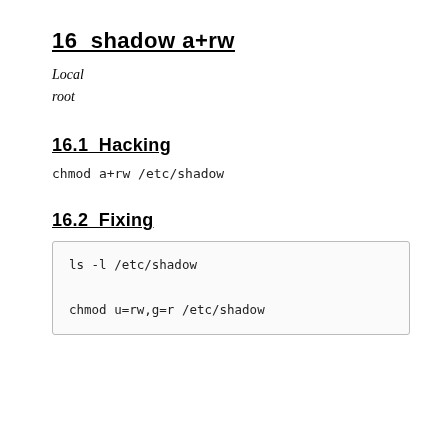16  shadow a+rw
Local
root
16.1  Hacking
chmod a+rw /etc/shadow
16.2  Fixing
ls -l /etc/shadow

chmod u=rw,g=r /etc/shadow